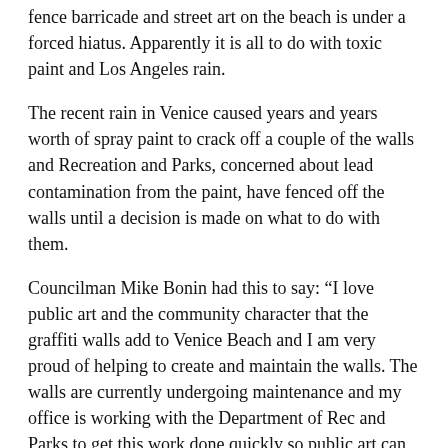fence barricade and street art on the beach is under a forced hiatus. Apparently it is all to do with toxic paint and Los Angeles rain.
The recent rain in Venice caused years and years worth of spray paint to crack off a couple of the walls and Recreation and Parks, concerned about lead contamination from the paint, have fenced off the walls until a decision is made on what to do with them.
Councilman Mike Bonin had this to say: “I love public art and the community character that the graffiti walls add to Venice Beach and I am very proud of helping to create and maintain the walls. The walls are currently undergoing maintenance and my office is working with the Department of Rec and Parks to get this work done quickly so public art can resume on the walls as soon as humanly possible.”
Bonin said the walls also needed to undergo maintenance because after years of painting and repainting, there was also to indicate a former about the paint which are not.